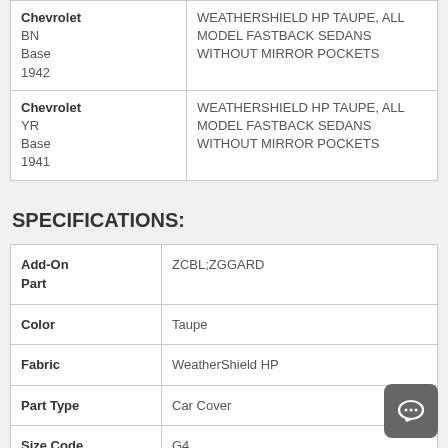| Make/Model/Style/Year | Description |
| --- | --- |
| Chevrolet
BN
Base
1942 | WEATHERSHIELD HP TAUPE, ALL MODEL FASTBACK SEDANS WITHOUT MIRROR POCKETS |
| Chevrolet
YR
Base
1941 | WEATHERSHIELD HP TAUPE, ALL MODEL FASTBACK SEDANS WITHOUT MIRROR POCKETS |
SPECIFICATIONS:
| Attribute | Value |
| --- | --- |
| Add-On Part | ZCBL;ZGGARD |
| Color | Taupe |
| Fabric | WeatherShield HP |
| Part Type | Car Cover |
| Size Code | G4 |